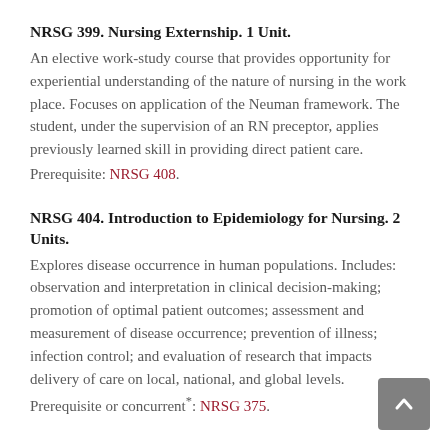NRSG 399. Nursing Externship. 1 Unit.
An elective work-study course that provides opportunity for experiential understanding of the nature of nursing in the work place. Focuses on application of the Neuman framework. The student, under the supervision of an RN preceptor, applies previously learned skill in providing direct patient care.
Prerequisite: NRSG 408.
NRSG 404. Introduction to Epidemiology for Nursing. 2 Units.
Explores disease occurrence in human populations. Includes: observation and interpretation in clinical decision-making; promotion of optimal patient outcomes; assessment and measurement of disease occurrence; prevention of illness; infection control; and evaluation of research that impacts delivery of care on local, national, and global levels.
Prerequisite or concurrent*: NRSG 375.